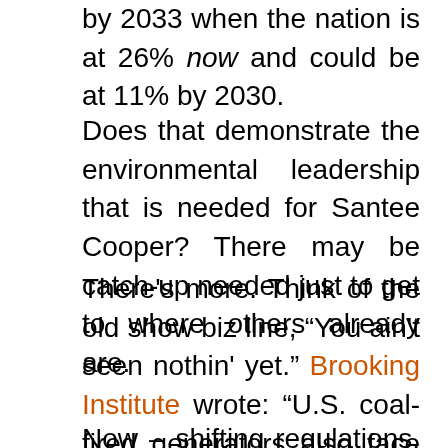by 2033 when the nation is at 26% now and could be at 11% by 2030.
Does that demonstrate the environmental leadership that is needed for Santee Cooper? There may be catch-up needed just to get to where others already are.
There's more. Think of the old show biz line, “You ain't seen nothin' yet.” Brooking Institute wrote: “U.S. coal-fired generators also face significant downside risk from the possibility of future policy changes toward more aggressive greenhouse gas mitigation.”
Now – shifting regulations, shifting public